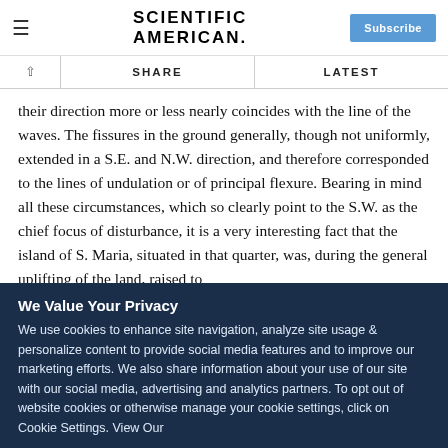SCIENTIFIC AMERICAN
their direction more or less nearly coincides with the line of the waves. The fissures in the ground generally, though not uniformly, extended in a S.E. and N.W. direction, and therefore corresponded to the lines of undulation or of principal flexure. Bearing in mind all these circumstances, which so clearly point to the S.W. as the chief focus of disturbance, it is a very interesting fact that the island of S. Maria, situated in that quarter, was, during the general uplifting of the land, raised to
We Value Your Privacy
We use cookies to enhance site navigation, analyze site usage & personalize content to provide social media features and to improve our marketing efforts. We also share information about your use of our site with our social media, advertising and analytics partners. To opt out of website cookies or otherwise manage your cookie settings, click on Cookie Settings. View Our